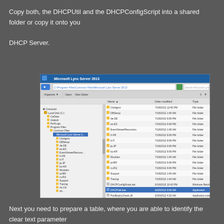Copy both, the DHCPUtil and the DHCPConfigScript into a shared folder or copy it onto you DHCP Server.
[Figure (screenshot): Windows Explorer screenshot showing Microsoft Lync Server 2013 folder contents, with DHCPUtil.exe highlighted in blue. Files visible include ClsAgent, DBSetup, de-DE, es-ES, EventViewerResources, fr-FR, it-IT, ja-JP, ko-KR, Modules, pt-BR, ru-RU, Support, Tracing, zh-CN, zh-TW, AdminUIHost.exe, DHCPConfigScript.bat, DHCPUtil.exe, PwdExpiryCheck.dll. Left panel shows folder tree rooted at Computer > Local Disk (C:) > Program Files > Common Files > Microsoft Lync Server 2...]
Next you need to prepare a table, where you are able to identify the clear text parameter